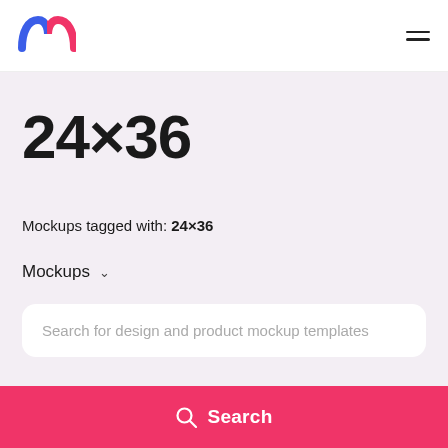[Figure (logo): Colorful letter M logo (blue and pink/red) for a mockup website]
24×36
Mockups tagged with: 24×36
Mockups ∨
Search for design and product mockup templates
Search